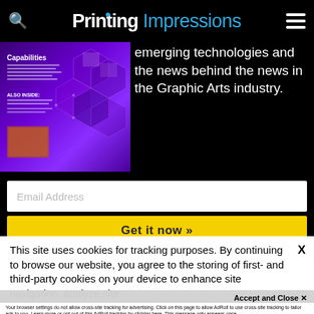Printing Impressions
[Figure (screenshot): Magazine cover thumbnail with purple hexagonal background showing 'Capabilities' heading and 'Also Inside' section]
emerging technologies and the news behind the news in the Graphic Arts industry.
Email Address
Get it now >>
This site uses cookies for tracking purposes. By continuing to browse our website, you agree to the storing of first- and third-party cookies on your device to enhance site navigation, analyze site usage, and assist in our marketing and
Accept and Close ✕
Your browser settings do not allow cross-site tracking for advertising. Click on this page to allow AdRoll to use cross-site tracking to tailor ads to you. Learn more or opt out of this AdRoll tracking by clicking here. This message only appears once.